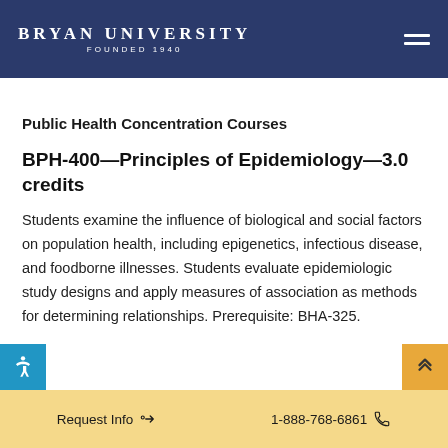BRYAN UNIVERSITY FOUNDED 1940
Public Health Concentration Courses
BPH-400—Principles of Epidemiology—3.0 credits
Students examine the influence of biological and social factors on population health, including epigenetics, infectious disease, and foodborne illnesses. Students evaluate epidemiologic study designs and apply measures of association as methods for determining relationships. Prerequisite: BHA-325.
Request Info    1-888-768-6861